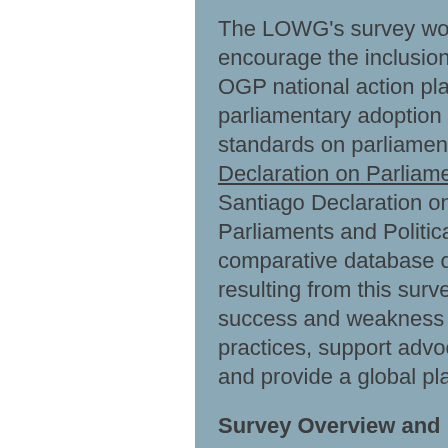The LOWG's survey work is intended to inform and encourage the inclusion of legislative commitments in OGP national action plans and to collect information on parliamentary adoption of emerging international standards on parliamentary openness, including the Declaration on Parliamentary Openness and the Santiago Declaration on Transparency and Integrity in Parliaments and Political Parties. Additionally, the global comparative database on parliamentary openness resulting from this survey work can help identify areas of success and weakness in parliamentary openness practices, support advocacy on parliamentary openness, and provide a global platform to share best practices.
Survey Overview and Instructions
The survey is composed of 17 questions. Survey respondents are able to save their progress and complete the survey later by clicking